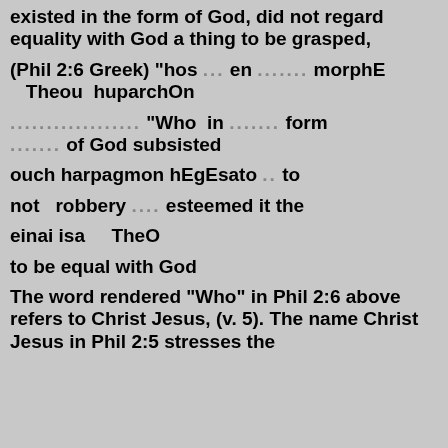existed in the form of God, did not regard equality with God a thing to be grasped,
(Phil 2:6 Greek) "hos ... en ....... morphE ... Theou  huparchOn
.................. "Who  in  ....... form ....... of God subsisted
ouch harpagmon hEgEsato .. to
not   robbery  .... esteemed it the
einai isa    TheO
to be equal with God
The word rendered "Who" in Phil 2:6 above refers to Christ Jesus, (v. 5). The name Christ Jesus in Phil 2:5 stresses the